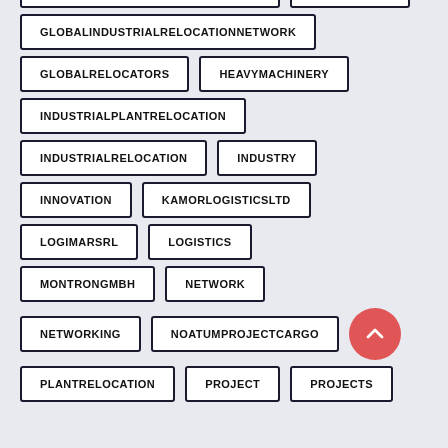GLOBALINDUSTRIALRELOCATIONNETWORK
GLOBALRELOCATORS
HEAVYMACHINERY
INDUSTRIALPLANTRELOCATION
INDUSTRIALRELOCATION
INDUSTRY
INNOVATION
KAMORLOGISTICSLTD
LOGIMARSRL
LOGISTICS
MONTRONGMBH
NETWORK
NETWORKING
NOATUMPROJECTCARGO
PLANTRELOCATION
PROJECT
PROJECTS